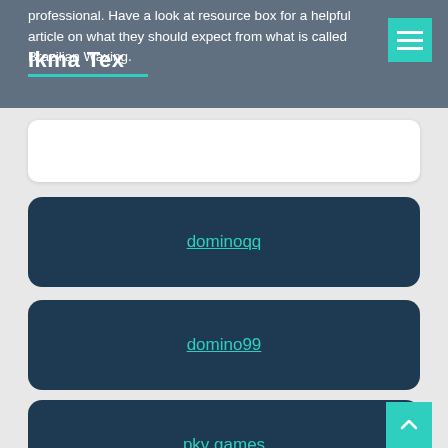Ikma Tex
professional. Have a look at resource box for a helpful article on what they should expect from what is called Brazilian Waxing.
dominoqq
domino99
pkv games